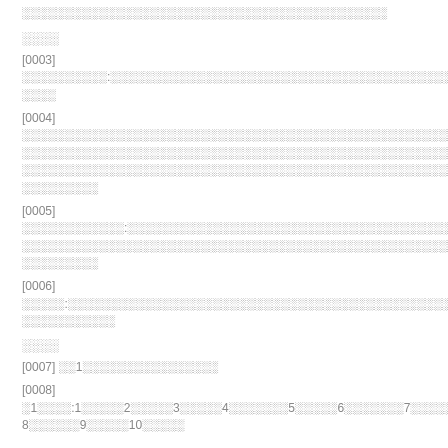░░░░░░░░░░░░░░░░░░░░░░░░░░░░░░░░░░░░░░░░░░░
░░░░
[0003] ░░░░░░░░░░:░░░░░░░░░░░░░░░░░░░░░░░░░░░░░░░░░░░░░░░░░░░░░░░░░░░░░░░░░░░░░░
[0004] ░░░░░░░░░░░░░░░░░░░░░░░░░░░░░░░░░░░░░░░░░░░░░░░░░░░░░░░░░░░░░░░░░░░░░░░░░░░░░░░░░░░░░░░░░░░░░░░░░░░░░░░░░░░░░░░░░░░░░░░░░░░░░░░░░░░░░░░░░░░░░░░░░░░░░░░░░░░░░░░░░░░░░░░░
[0005] ░░░░░░░░░░░░:░░░░░░░░░░░░░░░░░░░░░░░░░░░░░░░░░░░░░░░░░░░░░░░░░░░░░░░░░░░░░░░░░░░░░░░░░░░░░░░░░░░░░░░░░░░░░░░░░░░░░
[0006] ░░░░░:░░░░░░░░░░░░░░░░░░░░░░░░░░░░░░░░░░░░░░░░░░░░░░░░░░░░░░░░░░░░░░░░░░░░░░░░░░░░░░
░░░░
[0007] ░░1░░░░░░░░░░░░░░░░
[0008] ░1░░░░:1░░░░░2░░░░░3░░░░░4░░░░░░░5░░░░░6░░░░░░░7░░░░░8░░░░░░9░░░░░10░░░░░